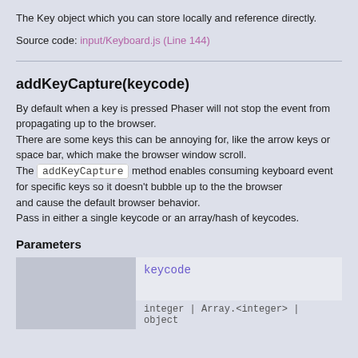The Key object which you can store locally and reference directly.
Source code: input/Keyboard.js (Line 144)
addKeyCapture(keycode)
By default when a key is pressed Phaser will not stop the event from propagating up to the browser.
There are some keys this can be annoying for, like the arrow keys or space bar, which make the browser window scroll.
The addKeyCapture method enables consuming keyboard event for specific keys so it doesn't bubble up to the the browser
and cause the default browser behavior.
Pass in either a single keycode or an array/hash of keycodes.
Parameters
|  | keycode |
| --- | --- |
|  | integer | Array.<integer> | object |